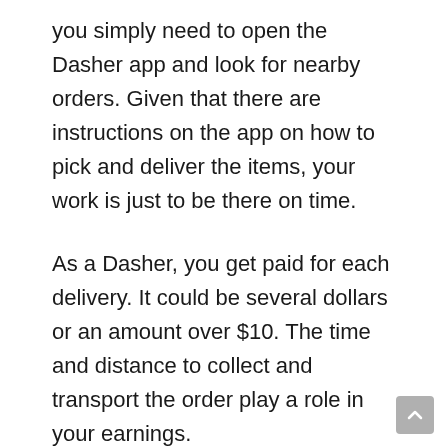you simply need to open the Dasher app and look for nearby orders. Given that there are instructions on the app on how to pick and deliver the items, your work is just to be there on time.
As a Dasher, you get paid for each delivery. It could be several dollars or an amount over $10. The time and distance to collect and transport the order play a role in your earnings.
Customer tips can also be a boost to what you earn. DoorDash pays you through direct bank deposits.